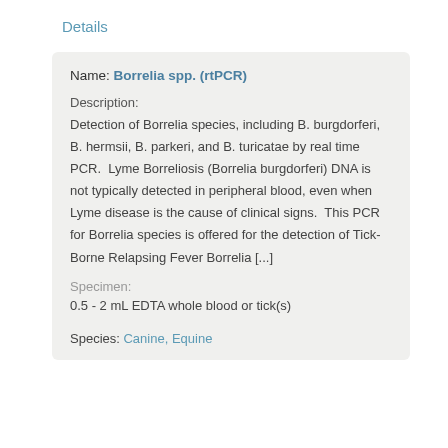Details
Name: Borrelia spp. (rtPCR)
Description:
Detection of Borrelia species, including B. burgdorferi, B. hermsii, B. parkeri, and B. turicatae by real time PCR.  Lyme Borreliosis (Borrelia burgdorferi) DNA is not typically detected in peripheral blood, even when Lyme disease is the cause of clinical signs.  This PCR for Borrelia species is offered for the detection of Tick-Borne Relapsing Fever Borrelia [...]
Specimen:
0.5 - 2 mL EDTA whole blood or tick(s)
Species: Canine, Equine